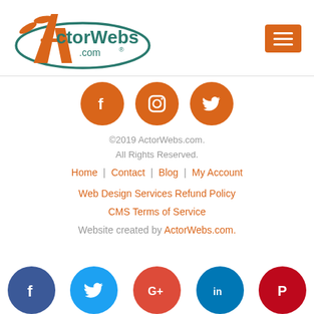[Figure (logo): ActorWebs.com logo with orange scissors and teal swoosh, and an orange hamburger menu button on the right]
[Figure (infographic): Three orange circle social media icons: Facebook, Instagram, Twitter]
©2019 ActorWebs.com.
All Rights Reserved.
Home | Contact | Blog | My Account
Web Design Services Refund Policy
CMS Terms of Service
Website created by ActorWebs.com.
[Figure (infographic): Five bottom social media circles: Facebook (dark blue), Twitter (light blue), Google+ (red), LinkedIn (blue), Pinterest (dark red)]